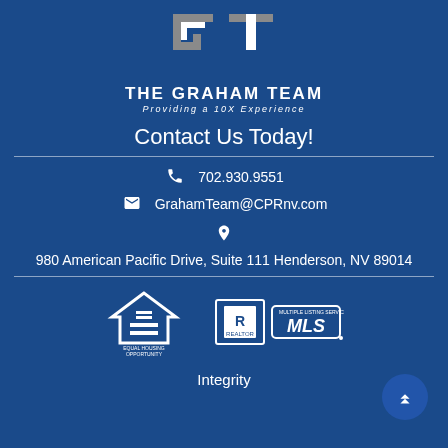[Figure (logo): The Graham Team logo with stylized GT letters in gray and white on blue background, with text 'THE GRAHAM TEAM' and 'Providing a 10X Experience']
Contact Us Today!
702.930.9551
GrahamTeam@CPRnv.com
980 American Pacific Drive, Suite 111 Henderson, NV 89014
[Figure (logo): Equal Housing Opportunity logo]
[Figure (logo): Realtor MLS logo]
Integrity